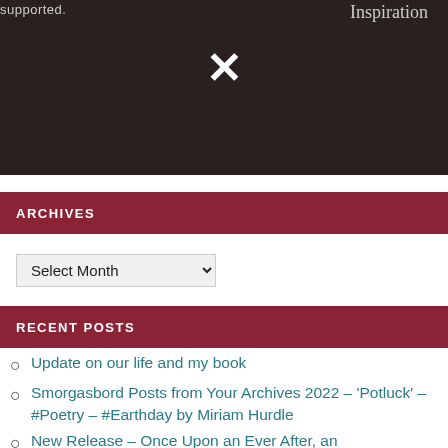[Figure (screenshot): Dark brown/black background image with text 'supported.' visible at top center and cursive 'Inspiration' text at top right, with a large white X mark in the center]
ARCHIVES
Select Month
RECENT POSTS
Update on our life and my book
Smorgasbord Posts from Your Archives 2022 – 'Potluck' – #Poetry – #Earthday by Miriam Hurdle
New Release – Once Upon an Ever After, an